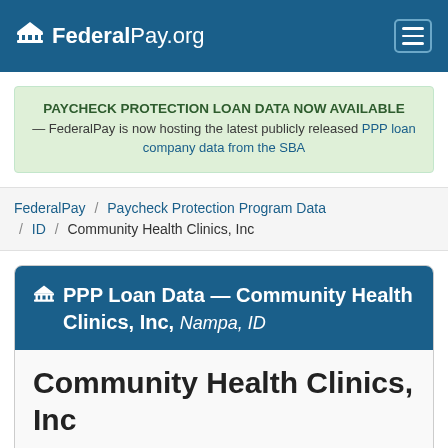FederalPay.org
PAYCHECK PROTECTION LOAN DATA NOW AVAILABLE — FederalPay is now hosting the latest publicly released PPP loan company data from the SBA
FederalPay / Paycheck Protection Program Data / ID / Community Health Clinics, Inc
PPP Loan Data — Community Health Clinics, Inc, Nampa, ID
Community Health Clinics, Inc
Entity: Corporation